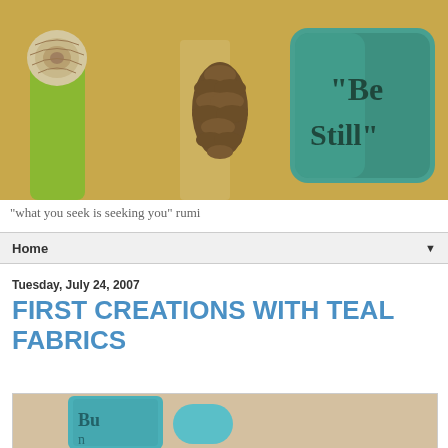[Figure (photo): Blog header photo showing craft items on a yellow-green felt background: a round shell/pinecone, a small brown pinecone, and a teal/turquoise felted piece stamped with 'Be Still']
"what you seek is seeking you" rumi
Home ▼
Tuesday, July 24, 2007
FIRST CREATIONS WITH TEAL FABRICS
[Figure (photo): Partial photo of a teal fabric craft item with text stamped or printed on it, partially visible at the bottom of the page]